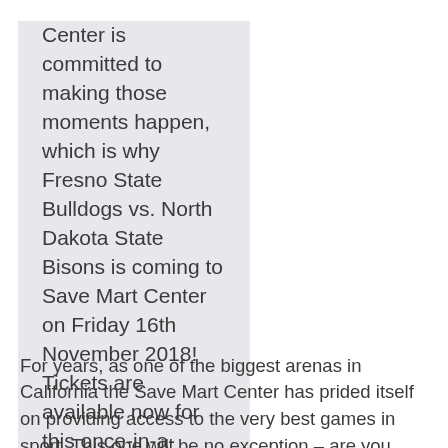Center is committed to making those moments happen, which is why Fresno State Bulldogs vs. North Dakota State Bisons is coming to Save Mart Center on Friday 16th November 2018! Tickets are available now for this once-in-a-lifetime experience! Get yours today by clicking the Buy Ticket button above.
For years, as one of the biggest arenas in California the Save Mart Center has prided itself on providing access to the very best games in sport. This one will be no exception – are you hyped to see Fresno State Bulldogs vs. North Dakota State